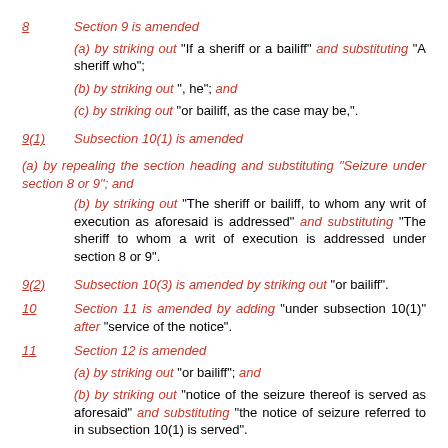8   Section 9 is amended
(a) by striking out "If a sheriff or a bailiff" and substituting "A sheriff who";
(b) by striking out ", he"; and
(c) by striking out "or bailiff, as the case may be,".
9(1)   Subsection 10(1) is amended
(a) by repealing the section heading and substituting "Seizure under section 8 or 9"; and
(b) by striking out "The sheriff or bailiff, to whom any writ of execution as aforesaid is addressed" and substituting "The sheriff to whom a writ of execution is addressed under section 8 or 9".
9(2)   Subsection 10(3) is amended by striking out "or bailiff".
10   Section 11 is amended by adding "under subsection 10(1)" after "service of the notice".
11   Section 12 is amended
(a) by striking out "or bailiff"; and
(b) by striking out "notice of the seizure thereof is served as aforesaid" and substituting "the notice of seizure referred to in subsection 10(1) is served".
12(1)   Subsection 16(1) is amended by striking out "Where goods or